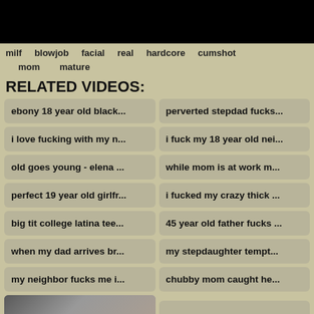[Figure (photo): Black video player area at top]
milf   blowjob   facial   real   hardcore   cumshot   mom   mature
RELATED VIDEOS:
ebony 18 year old black...
perverted stepdad fucks...
i love fucking with my n...
i fuck my 18 year old nei...
old goes young - elena ...
while mom is at work m...
perfect 19 year old girlfr...
i fucked my crazy thick ...
big tit college latina tee...
45 year old father fucks ...
when my dad arrives br...
my stepdaughter tempt...
my neighbor fucks me i...
chubby mom caught he...
[Figure (photo): Video thumbnail showing two people, duration 23 min]
fucking my beautiful ste...